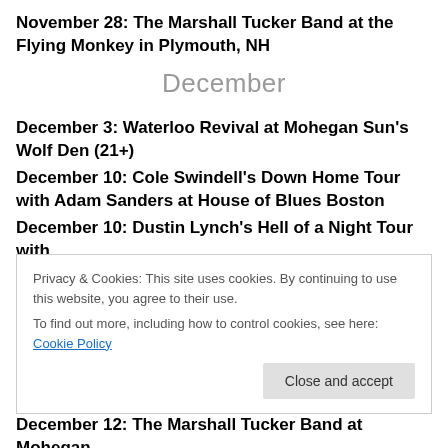November 28: The Marshall Tucker Band at the Flying Monkey in Plymouth, NH
December
December 3: Waterloo Revival at Mohegan Sun's Wolf Den (21+)
December 10: Cole Swindell's Down Home Tour with Adam Sanders at House of Blues Boston
December 10: Dustin Lynch's Hell of a Night Tour with
Privacy & Cookies: This site uses cookies. By continuing to use this website, you agree to their use.
To find out more, including how to control cookies, see here: Cookie Policy
December 12: The Marshall Tucker Band at Mohegan